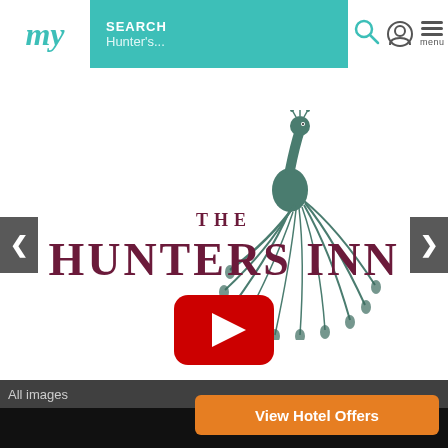[Figure (screenshot): Mobile website navigation bar with 'my' logo, teal search bar showing 'SEARCH / Hunter's...', search icon, user icon, and hamburger menu icon labeled 'menu']
[Figure (screenshot): Video player bar with teal '< BACK' button and title 'THE HUNTERS INN - Exmoors' hidden G...' on black background]
[Figure (logo): The Hunters Inn logo featuring a peacock illustration and 'THE HUNTERS INN' text in dark maroon serif font, with a YouTube play button overlay in the center]
All images
[Figure (screenshot): Orange 'View Hotel Offers' button at bottom of page]